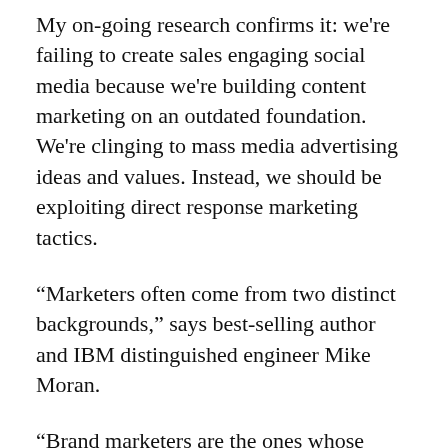My on-going research confirms it: we're failing to create sales engaging social media because we're building content marketing on an outdated foundation. We're clinging to mass media advertising ideas and values. Instead, we should be exploiting direct response marketing tactics.
“Marketers often come from two distinct backgrounds,” says best-selling author and IBM distinguished engineer Mike Moran.
“Brand marketers are the ones whose work you see on TV. They are all about branding, brand image, brand awareness—use whatever word you want—and their success has made Coca-Cola and many other consumer products into